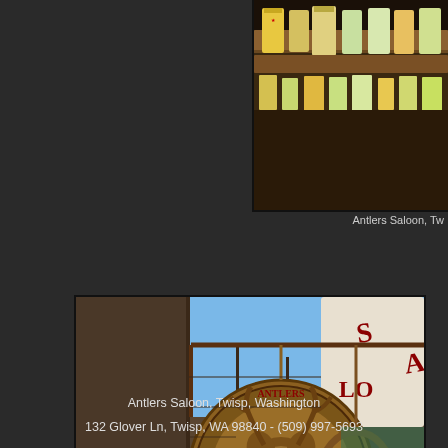[Figure (photo): Interior of Antlers Saloon showing wooden bar shelving with decorative items and banners hanging, warm lighting, partially visible]
Antlers Saloon, Tw
[Figure (photo): Exterior close-up of the Antlers Saloon circular wooden carved sign hanging from iron chain bracket on the side of a weathered wooden building, with antler/deer face carving. A 'Saloon' sign is partially visible in background. Text on sign reads Antlers Saloon & Cafe. A banner below reads Cold Beer & ...]
Antlers Saloon, Twisp, Washington
132 Glover Ln, Twisp, WA 98840 - (509) 997-5693